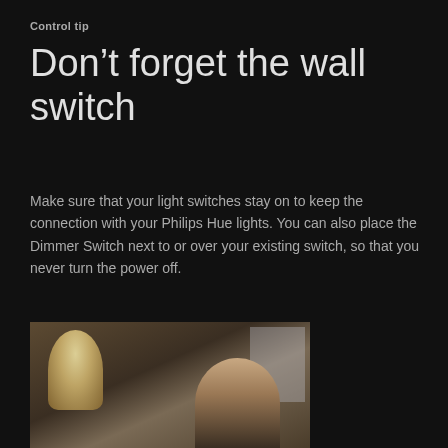Control tip
Don’t forget the wall switch
Make sure that your light switches stay on to keep the connection with your Philips Hue lights. You can also place the Dimmer Switch next to or over your existing switch, so that you never turn the power off.
[Figure (photo): A person in a warmly lit room next to a table lamp, with a window visible in the background.]